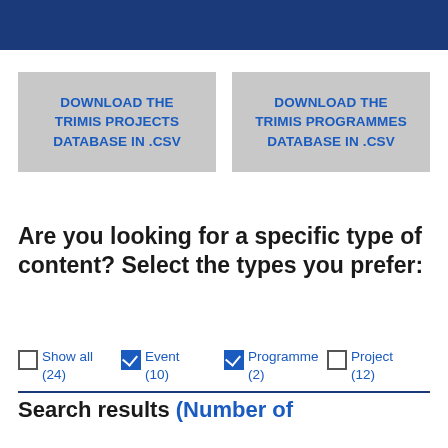[Figure (screenshot): Two grey download buttons side by side: 'DOWNLOAD THE TRIMIS PROJECTS DATABASE IN .CSV' and 'DOWNLOAD THE TRIMIS PROGRAMMES DATABASE IN .CSV']
Are you looking for a specific type of content? Select the types you prefer:
Show all (24)
Event (10)
Programme (2)
Project (12)
Search results (Number of